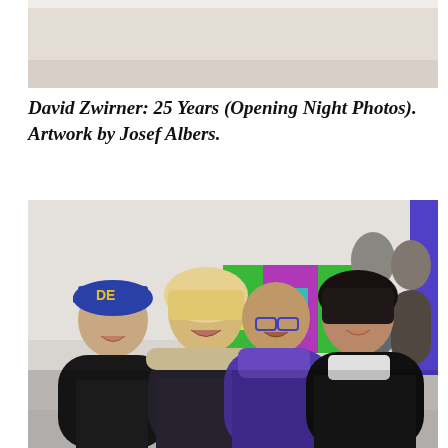[Figure (photo): Top partial photo of an art gallery space, cropped — shows a beige/warm-toned wall or ceiling.]
David Zwirner: 25 Years (Opening Night Photos). Artwork by Josef Albers.
[Figure (photo): A group of four people posing and smiling at a gallery opening. From left: a young woman in a dark jacket wearing a blue cap with 'DEN' lettering; a smiling blonde woman in a fur-trimmed coat; an elderly bespectacled man in a purple shirt/jacket laughing with arms around the others; a young dark-haired woman in a white top and dark jacket. In the background a colorful artwork is visible on the gallery wall, and additional attendees are seen to the right. A bold blue/purple framed artwork edge appears at far right.]